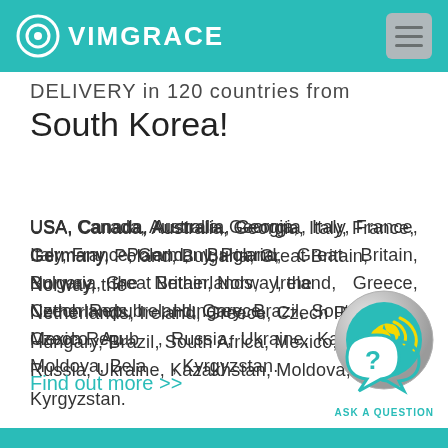VIMGRACE
DELIVERY in 120 countries from South Korea!
USA, Canada, Australia, Georgia, Italy, France, Germany, Poland, Bulgaria, Great Britain, Norway, the Netherlands, Ireland, Greece, Czech Republic, Hungary, Brazil, South Africa, Mexico, Austria, Russia, Ukraine, Kazakhstan, Moldova, Belarus, Kyrgyzstan.
Find out more >>
[Figure (illustration): Circular phone call button with yellow phone icon on teal/silver background]
[Figure (illustration): Ask a question button with teal speech bubble and question mark icon, labeled ASK A QUESTION]